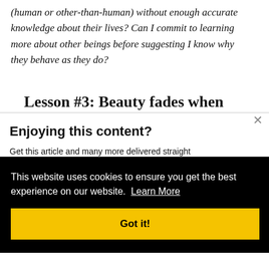(human or other-than-human) without enough accurate knowledge about their lives? Can I commit to learning more about other beings before suggesting I know why they behave as they do?
Lesson #3: Beauty fades when
Enjoying this content?
Get this article and many more delivered straight to
This website uses cookies to ensure you get the best experience on our website. Learn More
Got it!